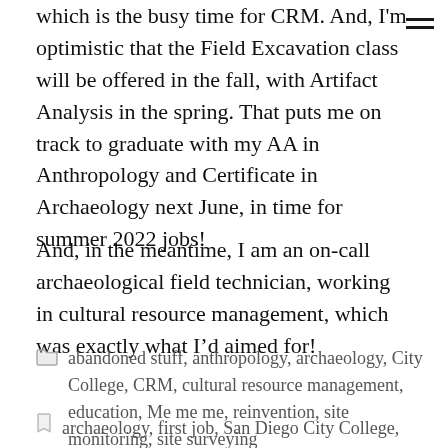which is the busy time for CRM. And, I'm optimistic that the Field Excavation class will be offered in the fall, with Artifact Analysis in the spring. That puts me on track to graduate with my AA in Anthropology and Certificate in Archaeology next June, in time for summer 2022 jobs!
And, in the meantime, I am an on-call archaeological field technician, working in cultural resource management, which was exactly what I'd aimed for!
abandoned stuff, anthropology, archaeology, City College, CRM, cultural resource management, education, Me me me, reinvention, site monitoring, site surveying
archaeology, first job, San Diego City College,